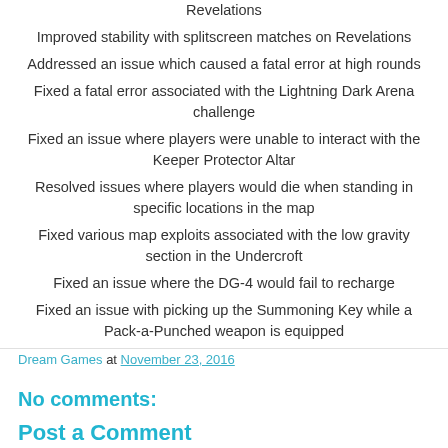Revelations
Improved stability with splitscreen matches on Revelations
Addressed an issue which caused a fatal error at high rounds
Fixed a fatal error associated with the Lightning Dark Arena challenge
Fixed an issue where players were unable to interact with the Keeper Protector Altar
Resolved issues where players would die when standing in specific locations in the map
Fixed various map exploits associated with the low gravity section in the Undercroft
Fixed an issue where the DG-4 would fail to recharge
Fixed an issue with picking up the Summoning Key while a Pack-a-Punched weapon is equipped
Dream Games at November 23, 2016
No comments:
Post a Comment